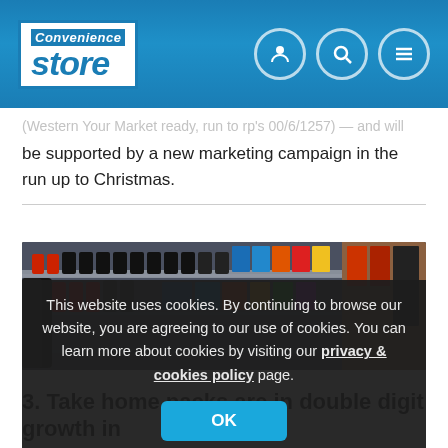Convenience Store
be supported by a new marketing campaign in the run up to Christmas.
[Figure (photo): Store refrigerator shelves stocked with soft drink bottles and packaged goods, with a cookie consent overlay dialog displayed on top]
This website uses cookies. By continuing to browse our website, you are agreeing to our use of cookies. You can learn more about cookies by visiting our privacy & cookies policy page.
3. Take home packs are in double digit growth in